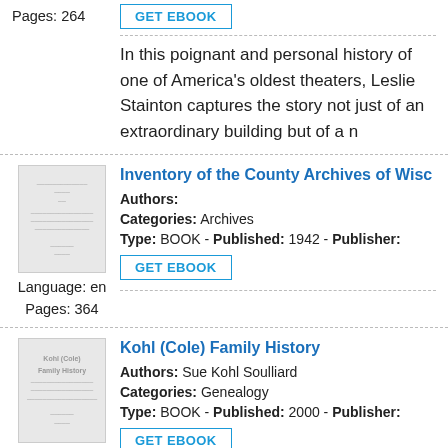Pages: 264
In this poignant and personal history of one of America's oldest theaters, Leslie Stainton captures the story not just of an extraordinary building but of a n
Inventory of the County Archives of Wisc
Authors:
Categories: Archives
Type: BOOK - Published: 1942 - Publisher:
Language: en
Pages: 364
Kohl (Cole) Family History
Authors: Sue Kohl Soulliard
Categories: Genealogy
Type: BOOK - Published: 2000 - Publisher:
Language: en
Pages: 244
George Kohl Jr, son of George (Georg) Kohl